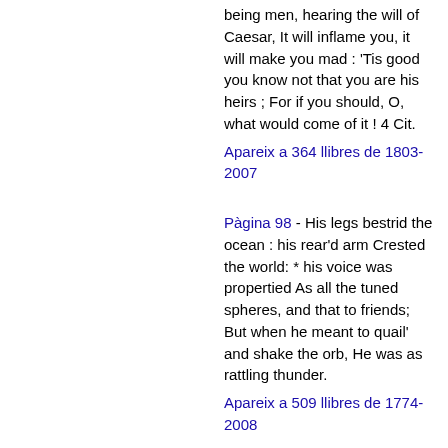being men, hearing the will of Caesar, It will inflame you, it will make you mad : 'Tis good you know not that you are his heirs ; For if you should, O, what would come of it ! 4 Cit.
Apareix a 364 llibres de 1803-2007
Pàgina 98 - His legs bestrid the ocean : his rear'd arm Crested the world: * his voice was propertied As all the tuned spheres, and that to friends; But when he meant to quail' and shake the orb, He was as rattling thunder.
Apareix a 509 llibres de 1774-2008